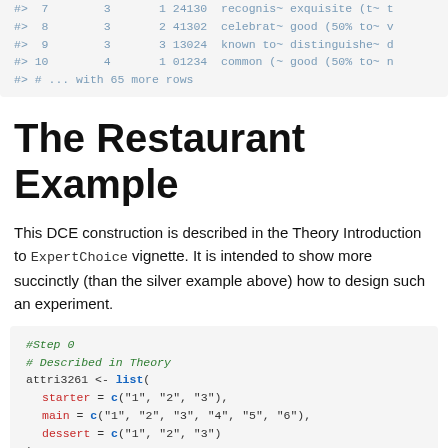#>  7        3       1 24130  recognis~ exquisite (t~ t
#>  8        3       2 41302  celebrat~ good (50% to~ v
#>  9        3       3 13024  known to~ distinguishe~ d
#> 10        4       1 01234  common (~ good (50% to~ n
#> # ... with 65 more rows
The Restaurant Example
This DCE construction is described in the Theory Introduction to ExpertChoice vignette. It is intended to show more succinctly (than the silver example above) how to design such an experiment.
#Step 0
# Described in Theory
attri3261 <- list(
  starter = c("1", "2", "3"),
  main = c("1", "2", "3", "4", "5", "6"),
  dessert = c("1", "2", "3")
)